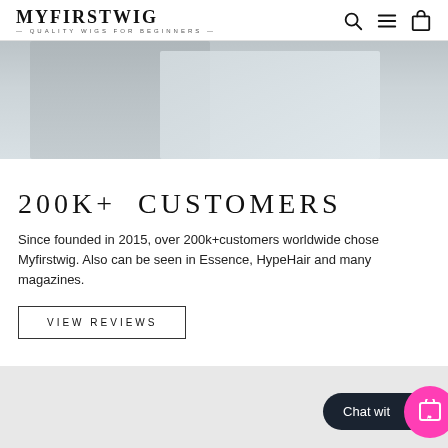MYFIRSTWIG — QUALITY WIGS FOR BEGINNERS —
[Figure (photo): Hero banner image showing a person wearing a wig, with light grey/beige background tones, cropped to show from shoulders up]
200K+ CUSTOMERS
Since founded in 2015, over 200k+customers worldwide chose Myfirstwig. Also can be seen in Essence, HypeHair and many magazines.
VIEW REVIEWS
[Figure (screenshot): Chat with us widget — dark pill-shaped button with 'Chat wit' text and a pink circle with shopping bag and heart icon]